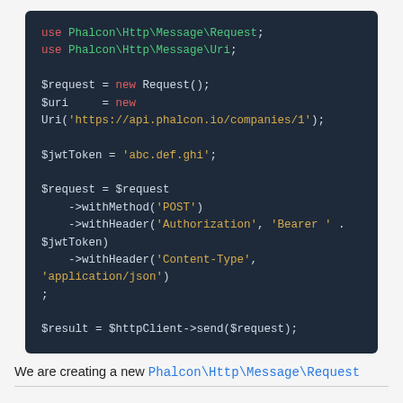[Figure (screenshot): Dark-themed code block showing PHP code using Phalcon Http Message classes. Code includes use statements, new Request and Uri instantiation, jwtToken assignment, method chaining with withMethod and withHeader, and sending request via httpClient.]
We are creating a new Phalcon\Http\Message\Request